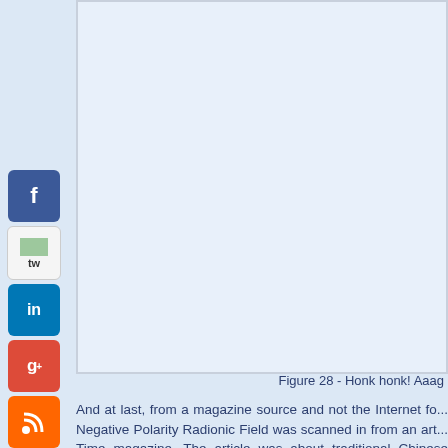[Figure (photo): Large image area showing a light blue framed picture placeholder, mostly blank/white with a light blue background and border.]
Figure 28 - Honk honk! Aaag
And at last, from a magazine source and not the Internet fo... Negative Polarity Radionic Field was scanned in from an art... Time magazine. The article was about traditional Chinese dan... the Lunar New Year, on January 29, 2017. Like said, these fiel... heh time.